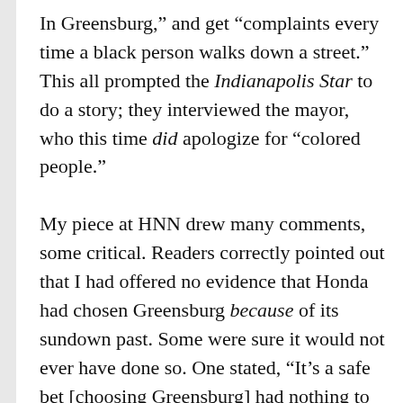In Greensburg," and get "complaints every time a black person walks down a street." This all prompted the Indianapolis Star to do a story; they interviewed the mayor, who this time did apologize for "colored people."

My piece at HNN drew many comments, some critical. Readers correctly pointed out that I had offered no evidence that Honda had chosen Greensburg because of its sundown past. Some were sure it would not ever have done so. One stated, "It's a safe bet [choosing Greensburg] had nothing to do with its racial history." "Does Honda, as a matter of course, pick areas with